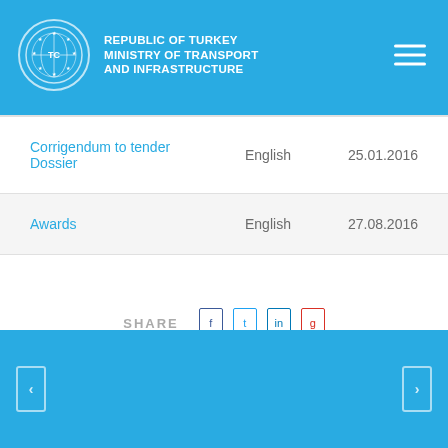REPUBLIC OF TURKEY MINISTRY OF TRANSPORT AND INFRASTRUCTURE
| Document | Language | Date |
| --- | --- | --- |
| Corrigendum to tender Dossier | English | 25.01.2016 |
| Awards | English | 27.08.2016 |
SHARE